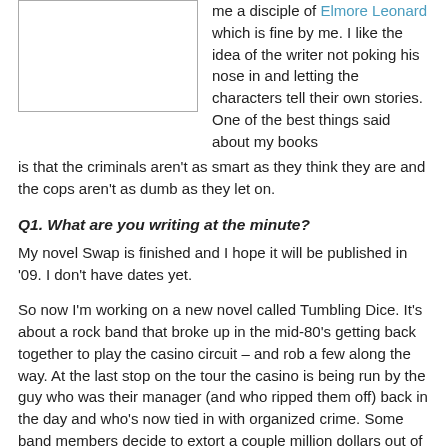[Figure (photo): Placeholder image box (white rectangle with border)]
me a disciple of Elmore Leonard which is fine by me. I like the idea of the writer not poking his nose in and letting the characters tell their own stories. One of the best things said about my books is that the criminals aren't as smart as they think they are and the cops aren't as dumb as they let on.
Q1. What are you writing at the minute?
My novel Swap is finished and I hope it will be published in '09. I don't have dates yet.
So now I'm working on a new novel called Tumbling Dice. It's about a rock band that broke up in the mid-80's getting back together to play the casino circuit – and rob a few along the way. At the last stop on the tour the casino is being run by the guy who was their manager (and who ripped them off) back in the day and who's now tied in with organized crime. Some band members decide to extort a couple million dollars out of him and, well, it doesn't go exactly as planned. It's a cracking good read if I do say so.